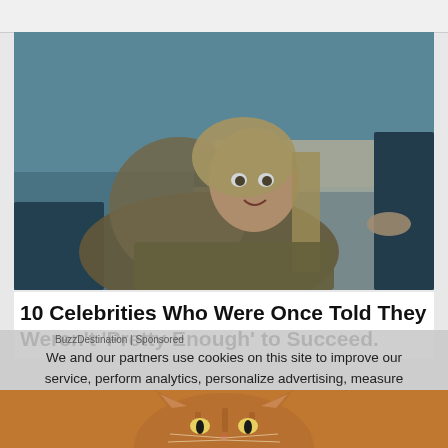[Figure (photo): Woman in prison uniform crouching beside a bed in a blue-lit room, looking frightened or surprised]
10 Celebrities Who Were Once Told They Weren’t ‘Pretty Enough’ to Succeed.
BuzzDestination | Sponsored
We and our partners use cookies on this site to improve our service, perform analytics, personalize advertising, measure advertising performance, and remember website preferences.
Ok
[Figure (photo): Partial view of a cat, visible at the bottom of the page behind the cookie consent overlay]